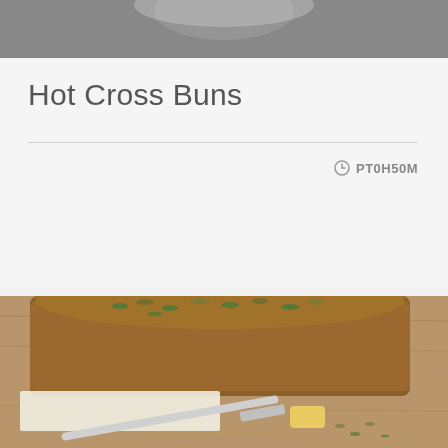[Figure (photo): Top portion of a food photo, dark background with partial view of a dish or plate]
Hot Cross Buns
PT0H50M
[Figure (photo): A seeded loaf of bread (resembling hot cross buns style bread) on a wooden board with a butter knife and pat of butter, seeds scattered around]